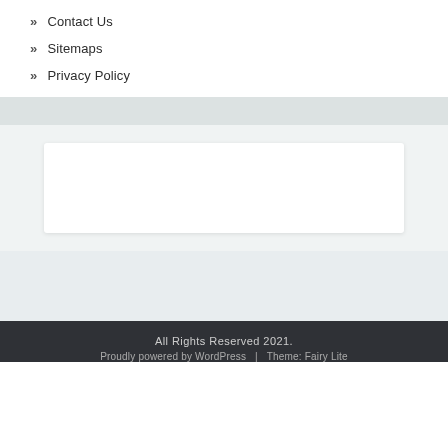» Contact Us
» Sitemaps
» Privacy Policy
[Figure (other): White box / advertisement placeholder in a light gray section]
All Rights Reserved 2021.
Proudly powered by WordPress  |  Theme: Fairy Lite